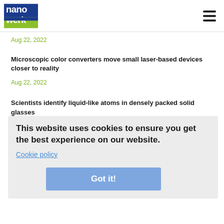nanowerk
Aug 22, 2022
Microscopic color converters move small laser-based devices closer to reality
Aug 22, 2022
Scientists identify liquid-like atoms in densely packed solid glasses
Aug 22, 2022
Study sheds new light on materials assembly in confinement
This website uses cookies to ensure you get the best experience on our website.
Cookie policy
New nanosheet photocatalyst boosts water splitting efficiency for clean hydrogen production
Aug 20, 2022
Scientists fine-tune 'tweezers of sound' for contactless manipulation of objects (w/video)
Got it!